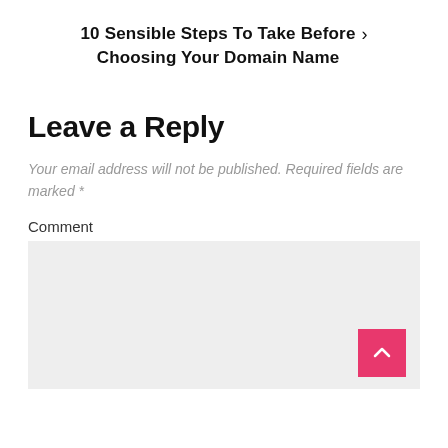10 Sensible Steps To Take Before Choosing Your Domain Name >
Leave a Reply
Your email address will not be published. Required fields are marked *
Comment